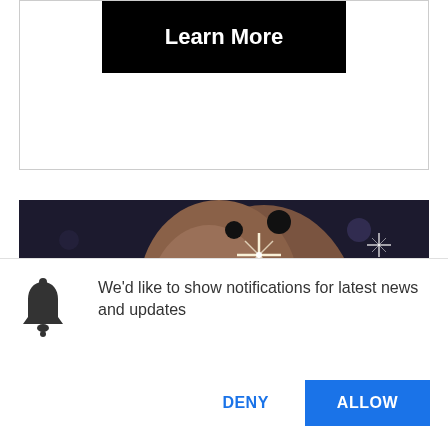[Figure (screenshot): Black button with white bold text 'Learn More' inside a white bordered container]
[Figure (photo): Artistic photo of a young woman with closed eyes, wearing a crescent moon earring. Sparkle/star light effects overlaid on a dark background. She holds her hand near her face.]
We'd like to show notifications for latest news and updates
DENY
ALLOW